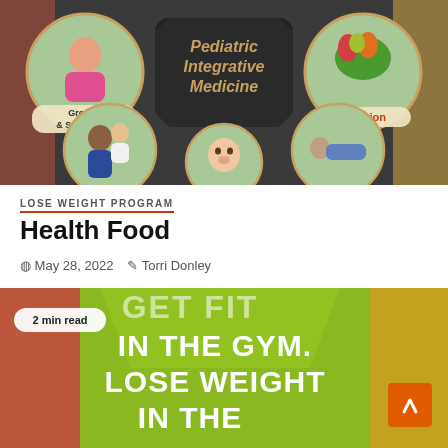[Figure (infographic): Pediatric Integrative Medicine infographic with five circular photo sections: Growth & Spirituality (top-left), Nutrition (top-right), a parent-child photo (bottom-left), a child lying down (bottom-right), and a baby (bottom-center). Central dark badge reads 'Pediatric Integrative Medicine'.]
LOSE WEIGHT PROGRAM
Health Food
May 28, 2022   Torri Donley
[Figure (photo): Fitness/health food photo with large white bold text overlaid: 'GET FIT IN THE GYM. LOSE WEIGHT IN THE' on a green background with food imagery. A '2 min read' badge is in the top-left. An orange scroll-to-top button is in the bottom-right.]